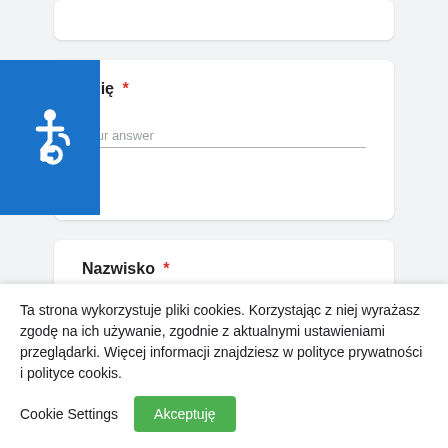[Figure (illustration): Accessibility icon (wheelchair symbol) on blue background]
Imię *
Your answer
Nazwisko *
Your answer
Ta strona wykorzystuje pliki cookies. Korzystając z niej wyrażasz zgodę na ich używanie, zgodnie z aktualnymi ustawieniami przeglądarki. Więcej informacji znajdziesz w polityce prywatności i polityce cookis.
Cookie Settings
Akceptuję